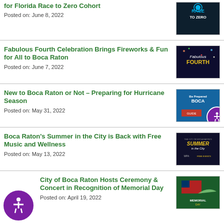for Florida Race to Zero Cohort
Posted on: June 8, 2022
Fabulous Fourth Celebration Brings Fireworks & Fun for All to Boca Raton
Posted on: June 7, 2022
New to Boca Raton or Not – Preparing for Hurricane Season
Posted on: May 31, 2022
Boca Raton's Summer in the City is Back with Free Music and Wellness
Posted on: May 13, 2022
City of Boca Raton Hosts Ceremony & Concert in Recognition of Memorial Day
Posted on: April 19, 2022